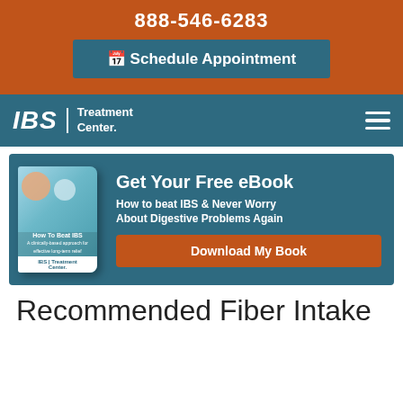888-546-6283
📅 Schedule Appointment
[Figure (logo): IBS Treatment Center logo with text 'IBS | Treatment Center' and hamburger menu icon on teal navigation bar]
[Figure (infographic): eBook promotional banner on teal background showing a book cover 'How To Beat IBS' with title 'Get Your Free eBook', subtitle 'How to beat IBS & Never Worry About Digestive Problems Again', and a 'Download My Book' button]
Recommended Fiber Intake